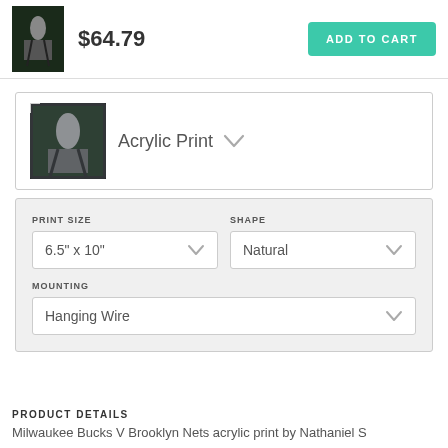[Figure (photo): Small thumbnail of basketball photo product]
$64.79
ADD TO CART
[Figure (photo): Acrylic print product thumbnail of basketball photo]
Acrylic Print
PRINT SIZE
6.5" x 10"
SHAPE
Natural
MOUNTING
Hanging Wire
PRODUCT DETAILS
Milwaukee Bucks V Brooklyn Nets acrylic print by Nathaniel S